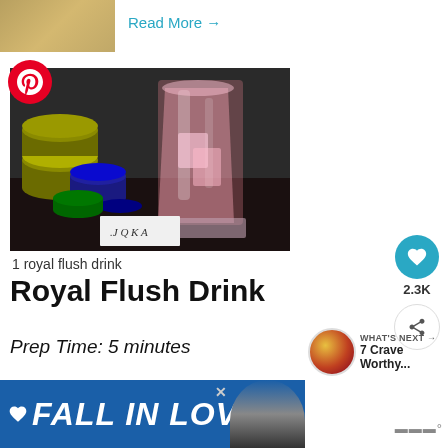[Figure (photo): Thumbnail photo of a drink next to 'Read More' link]
Read More →
[Figure (photo): Photo of a royal flush drink (pink cocktail in a crystal glass) on a dark surface with poker chips and playing cards]
1 royal flush drink
Royal Flush Drink
Prep Time: 5 minutes
Total Time: 5 minutes
[Figure (infographic): What's Next panel showing '7 Crave Worthy...' recommendation with thumbnail]
[Figure (screenshot): Advertisement banner reading FALL IN LOVE with dog image]